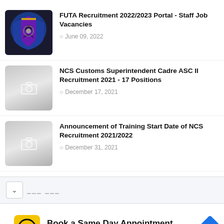FUTA Recruitment 2022/2023 Portal - Staff Job Vacancies
June 09, 2022
NCS Customs Superintendent Cadre ASC II Recruitment 2021 - 17 Positions
December 17, 2021
Announcement of Training Start Date of NCS Recruitment 2021/2022
December 31, 2021
[Figure (screenshot): Pagination area with chevron down button and ellipsis page indicators]
[Figure (infographic): Advertisement banner: Hair Cuttery - Book a Same Day Appointment with HC logo and navigation arrow]